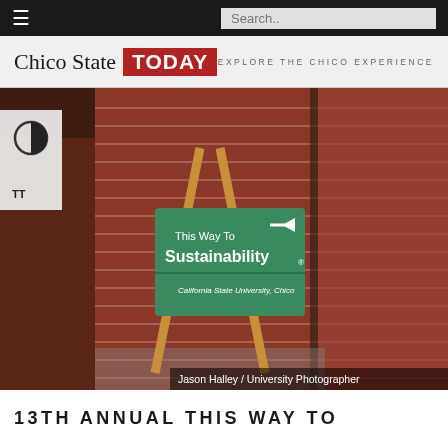≡  Search..
[Figure (logo): Chico State TODAY — EXPLORE THE CHICO EXPERIENCE logo bar]
[Figure (photo): A wooden easel holding a green sign reading 'This Way To Sustainability — California State University, Chico' placed against a red brick wall background. Photo credit: Jason Halley / University Photographer]
13TH ANNUAL THIS WAY TO